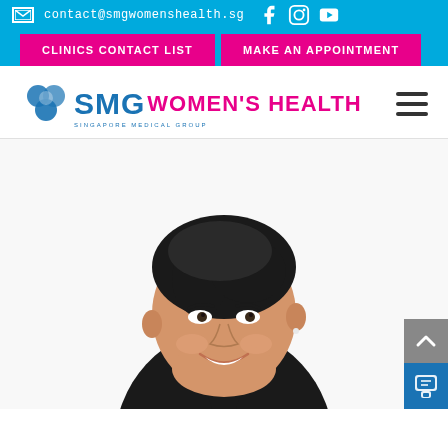contact@smgwomenshealth.sg
CLINICS CONTACT LIST
MAKE AN APPOINTMENT
[Figure (logo): SMG Women's Health logo with blue SMG text and pink Women's Health text]
[Figure (photo): Professional photo of a smiling Asian woman with short dark hair wearing a black sleeveless top/blazer against a white background]